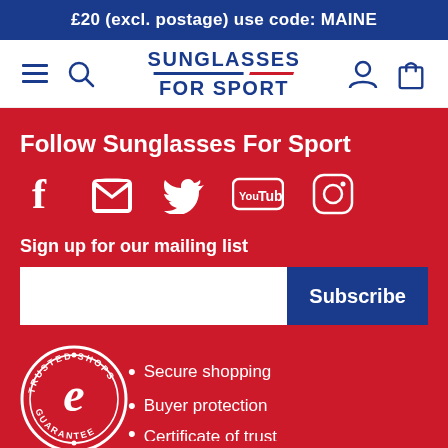£20 (excl. postage) use code: MAINE
[Figure (logo): Sunglasses For Sport logo with navigation bar including hamburger menu, search icon, user icon, and bag icon]
Follow Sunglasses For Sport
[Figure (infographic): Social media icons: Facebook, Twitter, YouTube, Instagram]
Sign up for our mailing list
[Figure (infographic): Email subscription input field with Subscribe button]
[Figure (logo): Trusted Shops Guarantee circular badge with 'e' logo]
Secure shopping
Buyer protection
Certificate of trust (partially visible)